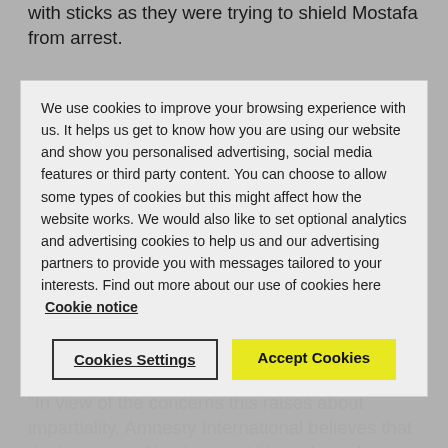with sticks as they were trying to shield Mostafa from arrest.
Colleagues of the public prosecutor Hassan Mostafa is accused of attacking led the investigations and brought the charges against Mostafa.
We use cookies to improve your browsing experience with us. It helps us get to know how you are using our website and show you personalised advertising, social media features or third party content. You can choose to allow some types of cookies but this might affect how the website works. We would also like to set optional analytics and advertising cookies to help us and our advertising partners to provide you with messages tailored to your interests. Find out more about our use of cookies here Cookie notice
Cookies Settings | Accept Cookies
Hassan Mostafa's colleagues th...
"In view of the concerns this raises about impartiality, Amnesty International believes that the interests of justice would have been better served if evidence-gathering and investigations into the alleged crime had not been conducted by prosecutors from that office."
At his first appeal hearing on 4 May – which an Amnesty delegate attended – witnesses testified that, while a verbal